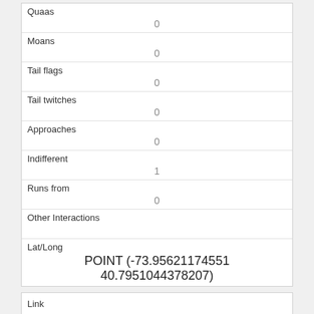| Field | Value |
| --- | --- |
| Quaas | 0 |
| Moans | 0 |
| Tail flags | 0 |
| Tail twitches | 0 |
| Approaches | 0 |
| Indifferent | 1 |
| Runs from | 0 |
| Other Interactions |  |
| Lat/Long | POINT (-73.95621174551 40.7951044378207) |
| Field |
| --- |
| Link |